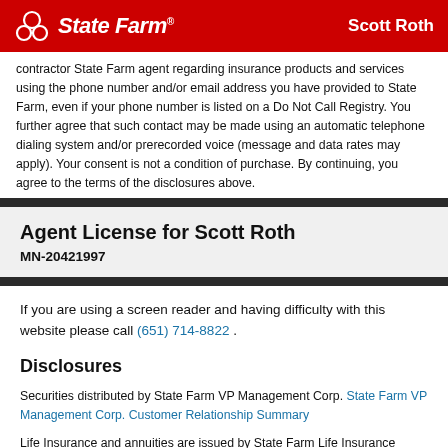State Farm | Scott Roth
contractor State Farm agent regarding insurance products and services using the phone number and/or email address you have provided to State Farm, even if your phone number is listed on a Do Not Call Registry. You further agree that such contact may be made using an automatic telephone dialing system and/or prerecorded voice (message and data rates may apply). Your consent is not a condition of purchase. By continuing, you agree to the terms of the disclosures above.
Agent License for Scott Roth
MN-20421997
If you are using a screen reader and having difficulty with this website please call (651) 714-8822 .
Disclosures
Securities distributed by State Farm VP Management Corp. State Farm VP Management Corp. Customer Relationship Summary
Life Insurance and annuities are issued by State Farm Life Insurance